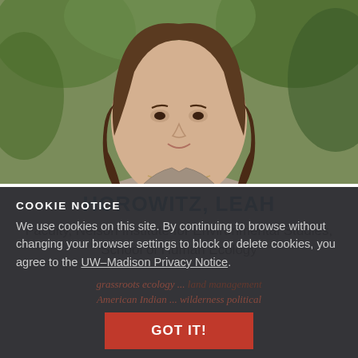[Figure (photo): Headshot of Leah Horowitz, a woman with brown hair wearing a grey blouse and a small pendant necklace, photographed outdoors with green foliage in the background.]
HOROWITZ, LEAH
Faculty, Nelson Institute for Environmental Studies, School of Human Ecology
COOKIE NOTICE
We use cookies on this site. By continuing to browse without changing your browser settings to block or delete cookies, you agree to the UW–Madison Privacy Notice.
grassroots ecology ... land management American Indian ... wilderness political
GOT IT!